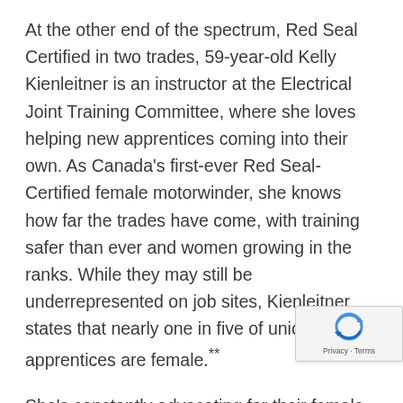At the other end of the spectrum, Red Seal Certified in two trades, 59-year-old Kelly Kienleitner is an instructor at the Electrical Joint Training Committee, where she loves helping new apprentices coming into their own. As Canada's first-ever Red Seal-Certified female motorwinder, she knows how far the trades have come, with training safer than ever and women growing in the ranks. While they may still be underrepresented on job sites, Kienleitner states that nearly one in five of union's apprentices are female.**
She's constantly advocating for their female apprentices, too, because, she says, "Wom... being still to the table that you do better all...
[Figure (other): reCAPTCHA widget overlay in the bottom-right corner with the reCAPTCHA logo and 'Privacy - Terms' text]